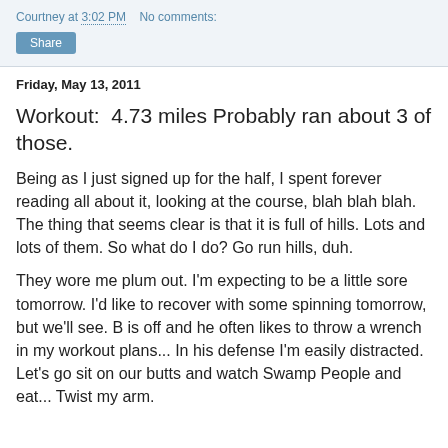Courtney at 3:02 PM   No comments:
Friday, May 13, 2011
Workout:  4.73 miles Probably ran about 3 of those.
Being as I just signed up for the half, I spent forever reading all about it, looking at the course, blah blah blah. The thing that seems clear is that it is full of hills. Lots and lots of them. So what do I do? Go run hills, duh.
They wore me plum out. I'm expecting to be a little sore tomorrow. I'd like to recover with some spinning tomorrow, but we'll see. B is off and he often likes to throw a wrench in my workout plans... In his defense I'm easily distracted. Let's go sit on our butts and watch Swamp People and eat... Twist my arm.